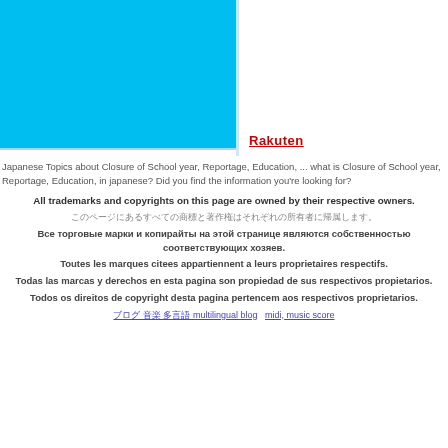[Figure (other): Blue banner block on left with white panel on right containing Rakuten logo]
Japanese Topics about Closure of School year, Reportage, Education, ... what is Closure of School year, Reportage, Education, in japanese? Did you find the information you're looking for?
All trademarks and copyrights on this page are owned by their respective owners.
このページにあるすべての商標と著作権はそれぞれの所有者に帰属します。
Все торговые марки и копирайты на этой странице являются собственностью соответствующих хозяев.
Toutes les marques citees appartiennent a leurs proprietaires respectifs.
Todas las marcas y derechos en esta pagina son propiedad de sus respectivos propietarios.
Todos os direitos de copyright desta pagina pertencem aos respectivos proprietarios.
ブログ 音楽 多言語 multilingual blog    midi, music score